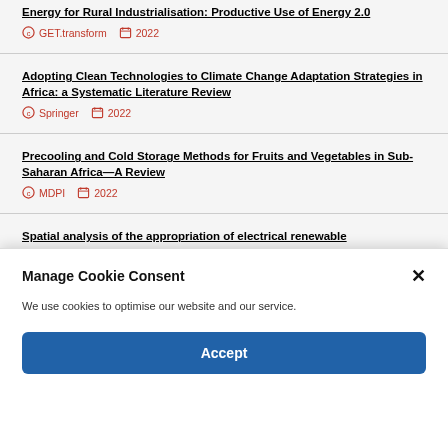Energy for Rural Industrialisation: Productive Use of Energy 2.0 | GET.transform | 2022
Adopting Clean Technologies to Climate Change Adaptation Strategies in Africa: a Systematic Literature Review | Springer | 2022
Precooling and Cold Storage Methods for Fruits and Vegetables in Sub-Saharan Africa—A Review | MDPI | 2022
Spatial analysis of the appropriation of electrical renewable
Manage Cookie Consent
We use cookies to optimise our website and our service.